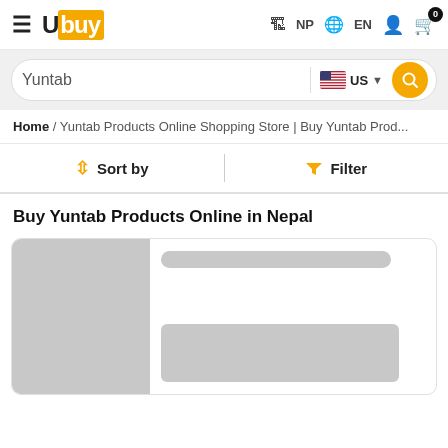Ubuy | NP | EN | Cart (0)
Yuntab | US
Home / Yuntab Products Online Shopping Store | Buy Yuntab Prod...
Sort by | Filter
Buy Yuntab Products Online in Nepal
[Figure (screenshot): Product card placeholder with grey image area and grey title/description bars]